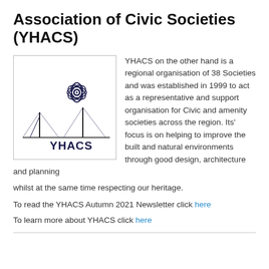Association of Civic Societies (YHACS)
[Figure (logo): YHACS logo featuring a Yorkshire rose and bridge silhouette with the text YHACS below]
YHACS on the other hand is a regional organisation of 38 Societies and was established in 1999 to act as a representative and support organisation for Civic and amenity societies across the region. Its' focus is on helping to improve the built and natural environments through good design, architecture and planning whilst at the same time respecting our heritage.
To read the YHACS Autumn 2021 Newsletter click here
To learn more about YHACS click here